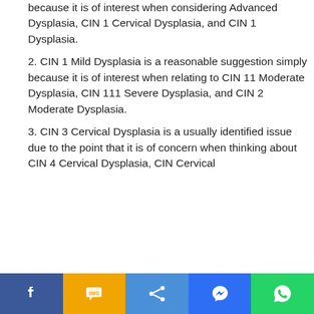because it is of interest when considering Advanced Dysplasia, CIN 1 Cervical Dysplasia, and CIN 1 Dysplasia.
2. CIN 1 Mild Dysplasia is a reasonable suggestion simply because it is of interest when relating to CIN 11 Moderate Dysplasia, CIN 111 Severe Dysplasia, and CIN 2 Moderate Dysplasia.
3. CIN 3 Cervical Dysplasia is a usually identified issue due to the point that it is of concern when thinking about CIN 4 Cervical Dysplasia, CIN Cervical...
[Figure (infographic): Social media sharing bar with Facebook, SMS, Share, Messenger, and WhatsApp buttons]